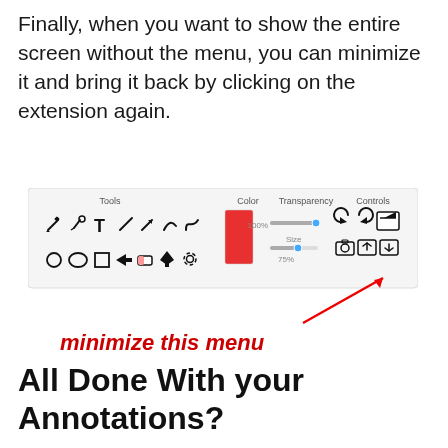Finally, when you want to show the entire screen without the menu, you can minimize it and bring it back by clicking on the extension again.
[Figure (screenshot): Screenshot of an annotation toolbar with Tools (pencil, dropper, T, line, arrow, curve, squiggle), Color (red swatch), Transparency (100%, 75% sliders), Controls (undo, redo, minimize, camera, export, import) sections. A red arrow points to the minimize/export button on the right side.]
minimize this menu
All Done With your Annotations?